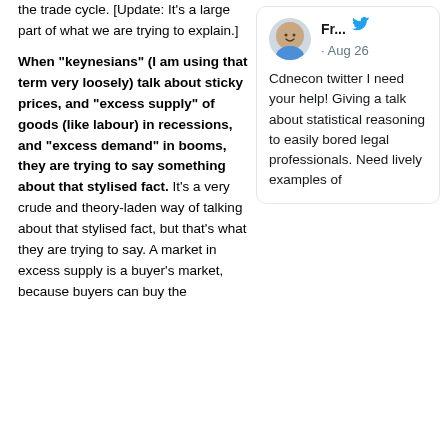the trade cycle. [Update: It's a large part of what we are trying to explain.]
When "keynesians" (I am using that term very loosely) talk about sticky prices, and "excess supply" of goods (like labour) in recessions, and "excess demand" in booms, they are trying to say something about that stylised fact. It's a very crude and theory-laden way of talking about that stylised fact, but that's what they are trying to say. A market in excess supply is a buyer's market, because buyers can buy the
[Figure (screenshot): A Twitter/social media card showing a user avatar (cartoon bald figure with a smile, wearing blue), username 'Fr...' with a blue Twitter bird icon, date '· Aug 26', and tweet text: 'Cdnecon twitter I need your help! Giving a talk about statistical reasoning to easily bored legal professionals. Need lively examples of']